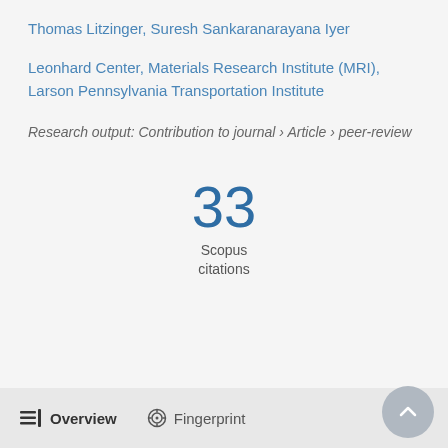Thomas Litzinger, Suresh Sankaranarayana Iyer
Leonhard Center, Materials Research Institute (MRI), Larson Pennsylvania Transportation Institute
Research output: Contribution to journal › Article › peer-review
33
Scopus
citations
Overview   Fingerprint